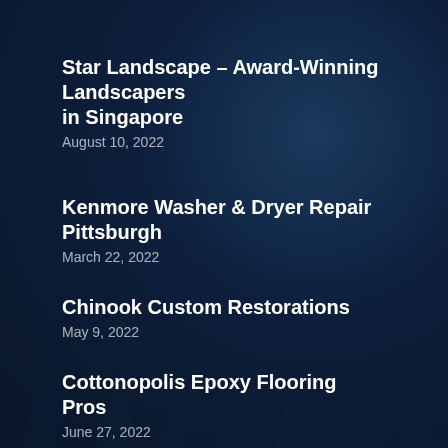Star Landscape – Award-Winning Landscapers in Singapore
August 10, 2022
Kenmore Washer & Dryer Repair Pittsburgh
March 22, 2022
Chinook Custom Restorations
May 9, 2022
Cottonopolis Epoxy Flooring Pros
June 27, 2022
WeMaxTax
January 10, 2022